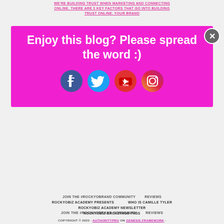WE'RE BUILDING TRUST WHEN MARKETING AND CONNECTING ONLINE. THERE ARE 3 KEY FACTORS THAT GO INTO BUILDING TRUST ONLINE. YOUR BRAND
[Figure (screenshot): Magenta/pink popup modal with text 'Enjoy this blog? Please spread the word :)' and social media icons for Facebook, Twitter, YouTube, and Instagram. A close X button is in the top right corner.]
JOIN THE #ROCKYOBRAND COMMUNITY
REVIEWS
ROCKYOBIZ ACADEMY PRESENTS
WHO IS CAMILLE TYLER
ROCKYOBIZ ACADEMY NEWSLETTER
ROCKYOBIZ BACKSTAGE PASS
COPYRIGHT © 2022 · AUTHORITYPRO ON GENESIS FRAMEWORK · WORDPRESS · LOG IN
Social media & sharing icons powered by UltimatelySocial